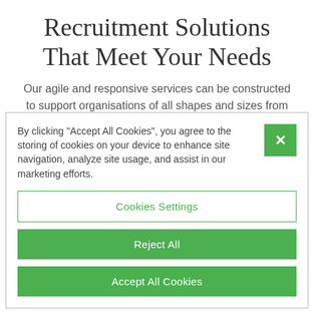Recruitment Solutions That Meet Your Needs
Our agile and responsive services can be constructed to support organisations of all shapes and sizes from SMEs right through to FTSE 250 businesses, so whether you’re a growing, dynamic and agile challenger brand or a more
By clicking “Accept All Cookies”, you agree to the storing of cookies on your device to enhance site navigation, analyze site usage, and assist in our marketing efforts.
Cookies Settings
Reject All
Accept All Cookies